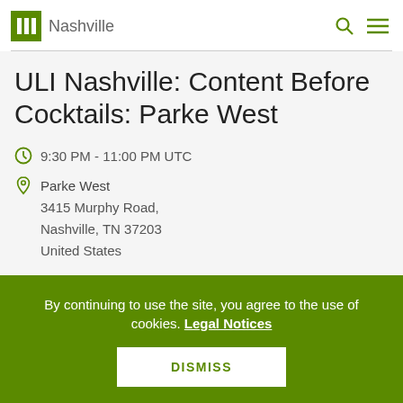ULI Nashville
ULI Nashville: Content Before Cocktails: Parke West
9:30 PM - 11:00 PM UTC
Parke West
3415 Murphy Road,
Nashville, TN 37203
United States
By continuing to use the site, you agree to the use of cookies. Legal Notices
DISMISS